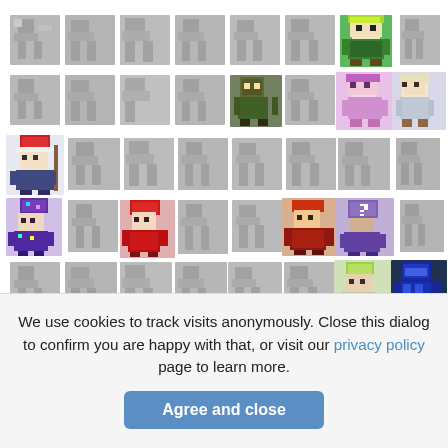[Figure (illustration): A grid of pixel art character sprites. Most are greyed out/locked, with some colorful unlocked characters visible. Row 1: 8 sprites (7 grey, 1 green character). Row 2: 8 sprites (4 grey, 1 dark green character, 1 grey, 1 pink/purple character, 1 blonde character). Row 3: 8 sprites (1 colorful Santa/wizard character, 7 grey). Row 4: 8 sprites (1 purple wizard, 1 grey, 1 red character, 1 grey, 1 grey, 1 red character, 1 purple character, 1 grey). Row 5: 8 sprites (6 grey, 1 green-haired character, 1 blue/dark character). Row 6: 4 sprites (2 grey, 1 yellow/purple character, 1 grey/colorful).]
We use cookies to track visits anonymously. Close this dialog to confirm you are happy with that, or visit our privacy policy page to learn more.